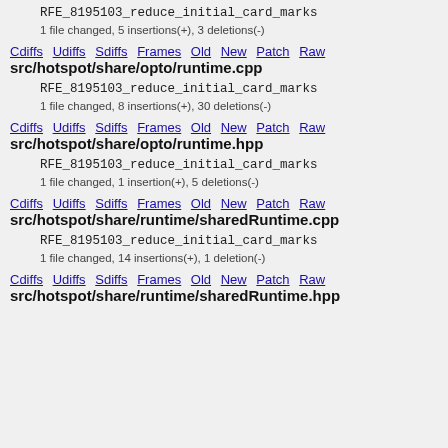RFE_8195103_reduce_initial_card_marks
1 file changed, 5 insertions(+), 3 deletions(-)
Cdiffs Udiffs Sdiffs Frames Old New Patch Raw
src/hotspot/share/opto/runtime.cpp
RFE_8195103_reduce_initial_card_marks
1 file changed, 8 insertions(+), 30 deletions(-)
Cdiffs Udiffs Sdiffs Frames Old New Patch Raw
src/hotspot/share/opto/runtime.hpp
RFE_8195103_reduce_initial_card_marks
1 file changed, 1 insertion(+), 5 deletions(-)
Cdiffs Udiffs Sdiffs Frames Old New Patch Raw
src/hotspot/share/runtime/sharedRuntime.cpp
RFE_8195103_reduce_initial_card_marks
1 file changed, 14 insertions(+), 1 deletion(-)
Cdiffs Udiffs Sdiffs Frames Old New Patch Raw
src/hotspot/share/runtime/sharedRuntime.hpp